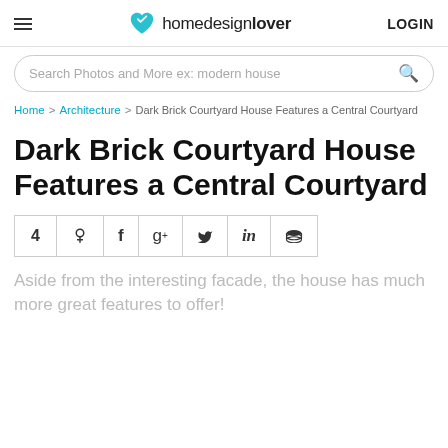homedesignlover LOGIN
Search Photos and More ex: modern house
Home > Architecture > Dark Brick Courtyard House Features a Central Courtyard
Dark Brick Courtyard House Features a Central Courtyard
4 social share buttons
Aside from the interesting facade, the house has much more great features to offer!